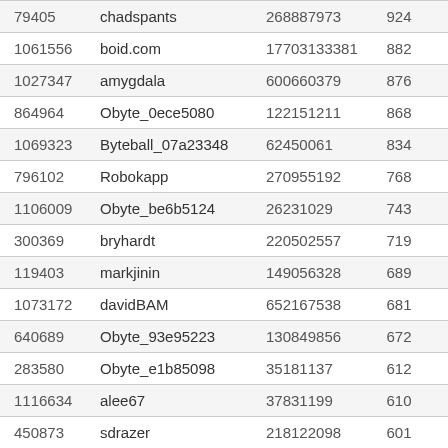| 79405 | chadspants | 268887973 | 924… |
| 1061556 | boid.com | 17703133381 | 882… |
| 1027347 | amygdala | 600660379 | 876… |
| 864964 | Obyte_0ece5080 | 122151211 | 868… |
| 1069323 | Byteball_07a23348 | 62450061 | 834… |
| 796102 | Robokapp | 270955192 | 768… |
| 1106009 | Obyte_be6b5124 | 26231029 | 743… |
| 300369 | bryhardt | 220502557 | 719… |
| 119403 | markjinin | 149056328 | 689… |
| 1073172 | davidBAM | 652167538 | 681… |
| 640689 | Obyte_93e95223 | 130849856 | 672… |
| 283580 | Obyte_e1b85098 | 35181137 | 612… |
| 1116634 | alee67 | 37831199 | 610… |
| 450873 | sdrazer | 218122098 | 601… |
| 34471 | Byteball_54212979 | 234965257 | 577… |
| 1089712 | Obyte_ae294429 | 83873536 | 549… |